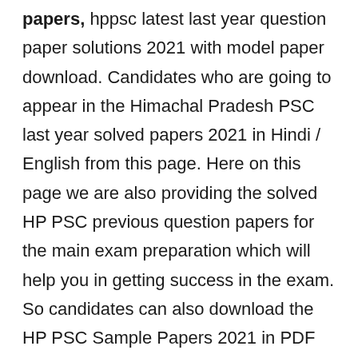papers, hppsc latest last year question paper solutions 2021 with model paper download. Candidates who are going to appear in the Himachal Pradesh PSC last year solved papers 2021 in Hindi / English from this page. Here on this page we are also providing the solved HP PSC previous question papers for the main exam preparation which will help you in getting success in the exam. So candidates can also download the HP PSC Sample Papers 2021 in PDF form official site.
Related Posts: